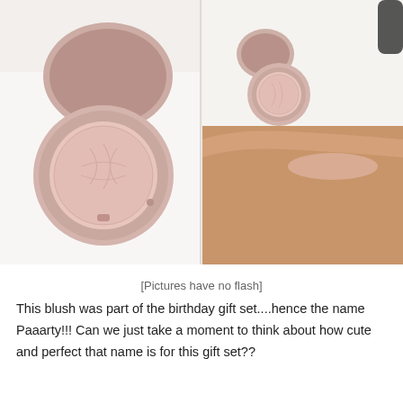[Figure (photo): Two side-by-side photos of a pink blush compact (Tarte) and an arm swatch showing the blush color on skin. Left photo: open compact on white surface. Right photo: compact lid open, pan beside it, and a swatch of the blush on the inner wrist/arm.]
[Pictures have no flash]
This blush was part of the birthday gift set....hence the name Paaarty!!! Can we just take a moment to think about how cute and perfect that name is for this gift set??